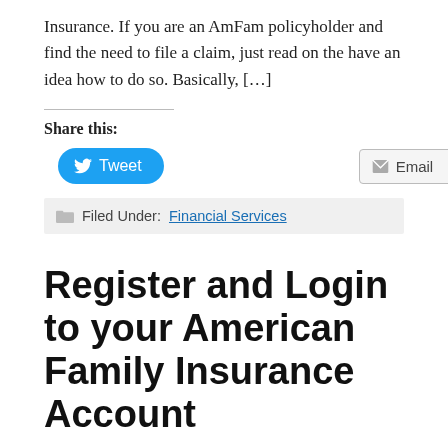Insurance. If you are an AmFam policyholder and find the need to file a claim, just read on the have an idea how to do so. Basically, […]
Share this:
[Figure (other): Tweet button (blue rounded) and Email button (grey outlined) for sharing]
Filed Under: Financial Services
Register and Login to your American Family Insurance Account
By Veronica